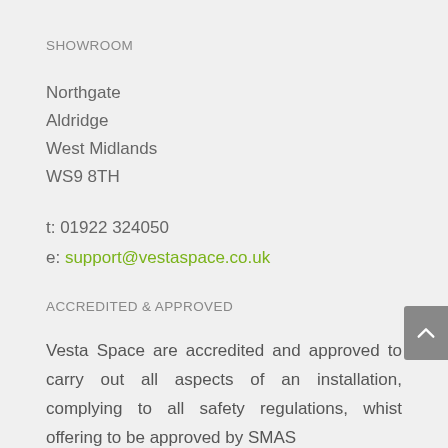SHOWROOM
Northgate
Aldridge
West Midlands
WS9 8TH
t: 01922 324050
e: support@vestaspace.co.uk
ACCREDITED & APPROVED
Vesta Space are accredited and approved to carry out all aspects of an installation, complying to all safety regulations, whist offering to be approved by SMAS